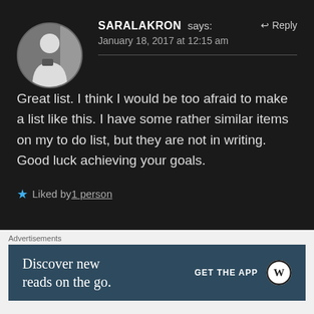SARALAKRON says: January 18, 2017 at 12:15 am
Great list. I think I would be too afraid to make a list like this. I have some rather similar items on my to do list, but they are not in writing. Good luck achieving your goals.
Liked by 1 person
[Figure (photo): Circular avatar photo of a person holding a camera]
Advertisements
Discover new reads on the go. GET THE APP